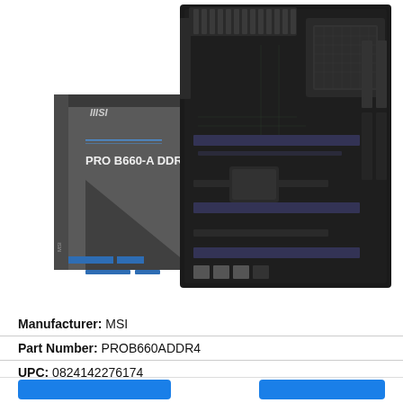[Figure (photo): MSI PRO B660-A DDR4 motherboard shown next to its retail box packaging. The box is dark grey with blue MSI branding and 'PRO B660-A DDR4' text. The motherboard is shown on the right, black PCB with CPU socket, RAM slots, PCIe slots, and various connectors visible.]
Manufacturer: MSI
Part Number: PROB660ADDR4
UPC: 0824142276174